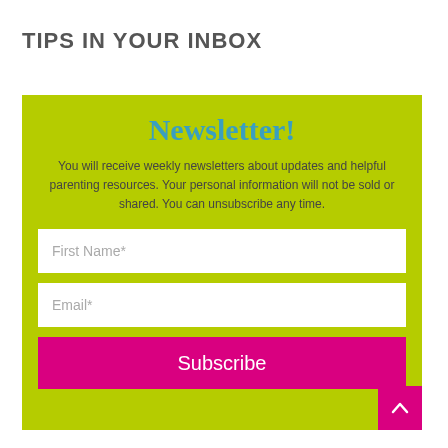TIPS IN YOUR INBOX
[Figure (other): Newsletter signup widget with green background, containing title 'Newsletter!', description text about weekly newsletters, First Name and Email input fields, a Subscribe button, and a back-to-top arrow button.]